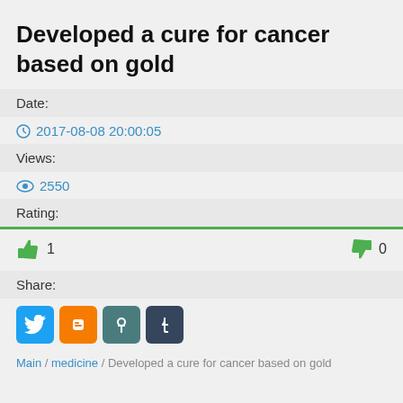Developed a cure for cancer based on gold
Date:
2017-08-08 20:00:05
Views:
2550
Rating:
👍 1   👎 0
Share:
[Figure (other): Social share icons: Twitter (blue), Blogger (orange), a teal icon, Tumblr (dark blue)]
Main / medicine / Developed a cure for cancer based on gold